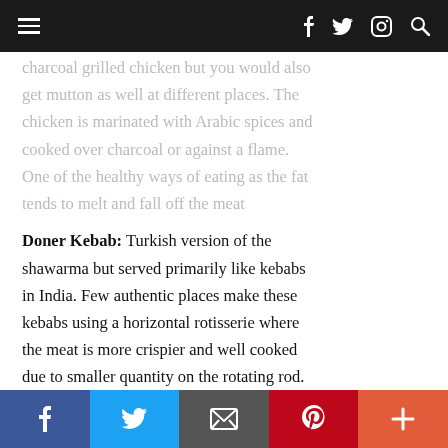Navigation bar with hamburger menu and social icons (f, twitter, instagram, search)
charcoal grilled chicken but you would also get mutton as well at different places. The chicken is marinated with Arabic spices and cooked over charcoal or against a flame. One of the healthy ways of eating as the fat tends to melt and fall off the meat
Doner Kebab: Turkish version of the shawarma but served primarily like kebabs in India. Few authentic places make these kebabs using a horizontal rotisserie where the meat is more crispier and well cooked due to smaller quantity on the rotating rod. Other variants include serving it with pita bread and vegetables, wrap style or
Share bar: Facebook, Twitter, Email, Pinterest, More